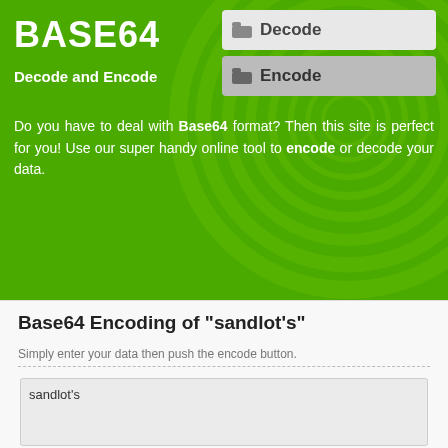BASE64
Decode and Encode
Do you have to deal with Base64 format? Then this site is perfect for you! Use our super handy online tool to encode or decode your data.
Base64 Encoding of "sandlot's"
Simply enter your data then push the encode button.
sandlot's